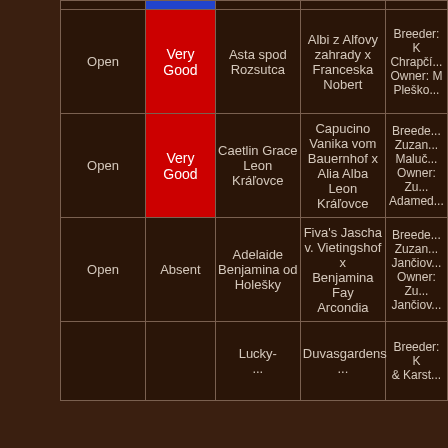| Class | Grade | Dog Name | Parents | Breeder/Owner |
| --- | --- | --- | --- | --- |
| Open | Very Good | Asta spod Rozsutca | Albi z Alfovy zahrady x Franceska Nobert | Breeder: K... Chrapčí... Owner: M... Pleško... |
| Open | Very Good | Caetlin Grace Leon Kráľovce | Capucino Vanika vom Bauernhof x Alia Alba Leon Kráľovce | Breeder: Zuzan... Maluč... Owner: Zu... Adamed... |
| Open | Absent | Adelaide Benjamina od Holešky | Fiva's Jascha v. Vietingshof x Benjamina Fay Arcondia | Breeder: Zuzan... Jančiov... Owner: Zu... Jančiov... |
|  |  | Lucky-... | Duvasgardens... | Breeder: K... & Karst... |